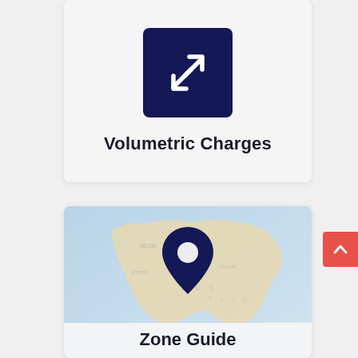[Figure (illustration): Dark navy square icon with two diagonal arrows pointing outward (expand/resize icon), representing Volumetric Charges]
Volumetric Charges
[Figure (map): Map of Australia with a dark navy map pin/location marker icon overlaid in the center, representing Zone Guide]
Zone Guide